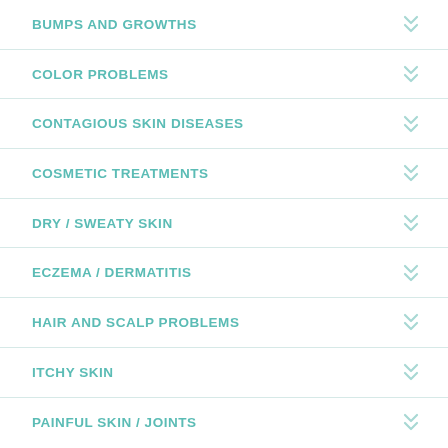BUMPS AND GROWTHS
COLOR PROBLEMS
CONTAGIOUS SKIN DISEASES
COSMETIC TREATMENTS
DRY / SWEATY SKIN
ECZEMA / DERMATITIS
HAIR AND SCALP PROBLEMS
ITCHY SKIN
PAINFUL SKIN / JOINTS